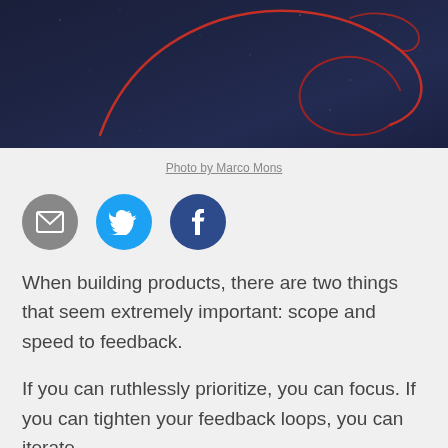[Figure (photo): Dark navy/blue background with a red light-painted swirl or curved streak, resembling the Debian logo or abstract light art]
Photo by Marco Mons
[Figure (infographic): Three social sharing icons: grey email envelope icon, cyan/blue Twitter bird icon, dark blue Facebook 'f' icon]
When building products, there are two things that seem extremely important: scope and speed to feedback.
If you can ruthlessly prioritize, you can focus. If you can tighten your feedback loops, you can iterate